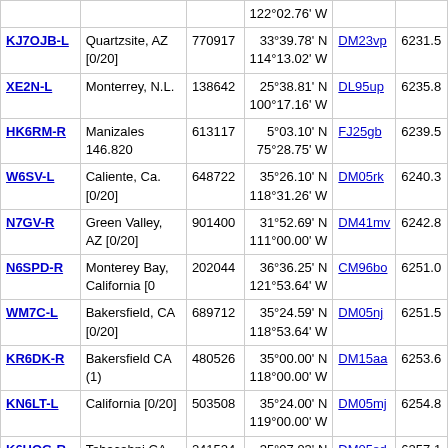| Callsign | Location | Node | Coordinates | Grid | Dist |
| --- | --- | --- | --- | --- | --- |
|  |  |  | 122°02.76' W |  |  |
| KJ7OJB-L | Quartzsite, AZ [0/20] | 770917 | 33°39.78' N
114°13.02' W | DM23vp | 6231.5 |
| XE2N-L | Monterrey, N.L. | 138642 | 25°38.81' N
100°17.16' W | DL95up | 6235.8 |
| HK6RM-R | Manizales 146.820 | 613117 | 5°03.10' N
75°28.75' W | FJ25gb | 6239.5 |
| W6SV-L | Caliente, Ca. [0/20] | 648722 | 35°26.10' N
118°31.26' W | DM05rk | 6240.3 |
| N7GV-R | Green Valley, AZ [0/20] | 901400 | 31°52.69' N
111°00.00' W | DM41mv | 6242.8 |
| N6SPD-R | Monterey Bay, California [0 | 202044 | 36°36.25' N
121°53.64' W | CM96bo | 6251.0 |
| WM7C-L | Bakersfield, CA [0/20] | 689712 | 35°24.59' N
118°53.64' W | DM05nj | 6251.5 |
| KR6DK-R | Bakersfield CA (1) | 480526 | 35°00.00' N
118°00.00' W | DM15aa | 6253.6 |
| KN6LT-L | California [0/20] | 503508 | 35°24.00' N
119°00.00' W | DM05mj | 6254.8 |
| K6HOG-R | Tehacahpi CA [0/20] | 241524 | 35°07.93' N
118°26.94' W | DM05sd | 6257.1 |
| KK6OKI-R | Bakersfield, CA [0/20] | 533625 | 35°23.09' N
119°09.84' W | DM05kj | 6259.9 |
| N7MDT-L | Rio Rico AZ [0/20] | 669686 | 31°24.65' N
110°45.18' W | DM41oj | 6262.8 |
| KB6BZZ-L | Apple Valley, CA [0/20] | 86904 | 34°29.57' N | DM14jl | 6263.7 |